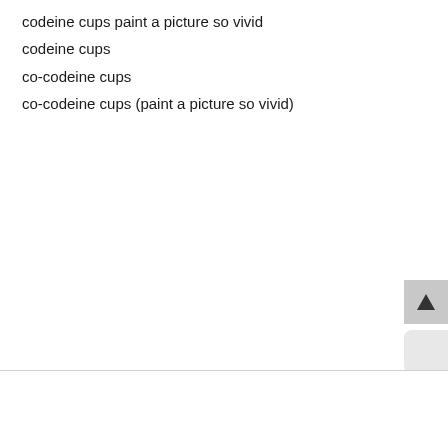codeine cups paint a picture so vivid
codeine cups
co-codeine cups
co-codeine cups (paint a picture so vivid)